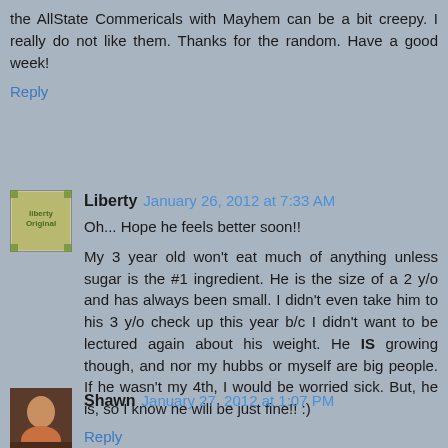the AllState Commericals with Mayhem can be a bit creepy. I really do not like them. Thanks for the random. Have a good week!
Reply
Liberty  January 26, 2012 at 7:33 AM
Oh... Hope he feels better soon!!
My 3 year old won't eat much of anything unless sugar is the #1 ingredient. He is the size of a 2 y/o and has always been small. I didn't even take him to his 3 y/o check up this year b/c I didn't want to be lectured again about his weight. He IS growing though, and nor my hubbs or myself are big people. If he wasn't my 4th, I would be worried sick. But, he is, so I know he will be just fine!! :)
Reply
Shawn  January 27, 2012 at 1:07 PM